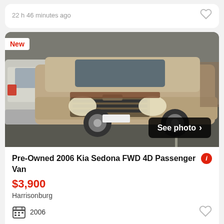22 h 46 minutes ago
[Figure (photo): Gold/tan 2006 Kia Sedona minivan parked in a parking lot, front-facing view. A silver SUV is visible to the left. 'New' badge in top-left corner. 'See photo >' button overlay in bottom-right.]
Pre-Owned 2006 Kia Sedona FWD 4D Passenger Van
$3,900
Harrisonburg
2006
23 h 10 minutes ago